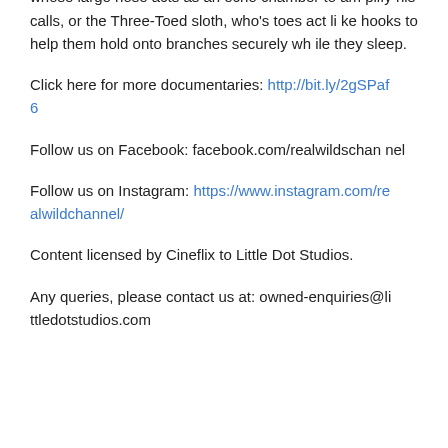e a purpose for their survival. Like the Proboscis monkey, whose large nose acts as an echo chamber to amplify his calls, or the Three-Toed sloth, who's toes act like hooks to help them hold onto branches securely while they sleep.
Click here for more documentaries: http://bit.ly/2gSPaf6
Follow us on Facebook: facebook.com/realwildschannel
Follow us on Instagram: https://www.instagram.com/realwildchannel/
Content licensed by Cineflix to Little Dot Studios.
Any queries, please contact us at: owned-enquiries@littledotstudios.com